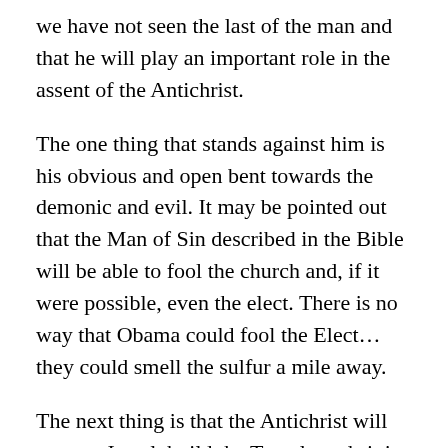we have not seen the last of the man and that he will play an important role in the assent of the Antichrist.
The one thing that stands against him is his obvious and open bent towards the demonic and evil. It may be pointed out that the Man of Sin described in the Bible will be able to fool the church and, if it were possible, even the elect. There is no way that Obama could fool the Elect... they could smell the sulfur a mile away.
The next thing is that the Antichrist will support Israel, build the Temple and sit in it. I cannot imagine Mr. Obama fulfilling that role.